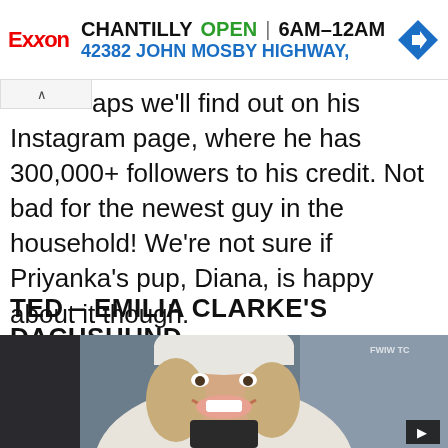[Figure (infographic): Exxon advertisement banner: CHANTILLY OPEN 6AM-12AM, 42382 JOHN MOSBY HIGHWAY, with Exxon logo and blue navigation arrow diamond icon]
aps we'll find out on his Instagram page, where he has 300,000+ followers to his credit. Not bad for the newest guy in the household! We're not sure if Priyanka's pup, Diana, is happy about it though.
TED – EMILIA CLARKE'S DACHSHUND
[Figure (photo): Photo of a smiling blonde woman wearing a white beanie hat and white fluffy coat, appearing to be Emilia Clarke]